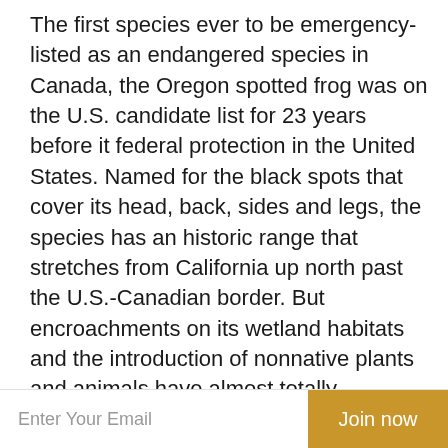The first species ever to be emergency-listed as an endangered species in Canada, the Oregon spotted frog was on the U.S. candidate list for 23 years before it federal protection in the United States. Named for the black spots that cover its head, back, sides and legs, the species has an historic range that stretches from California up north past the U.S.-Canadian border. But encroachments on its wetland habitats and the introduction of nonnative plants and animals have almost totally extinguished the frog. Over the past 50 years, this unique amphibian has disappeared from 90 percent of its former range — and since it was listed as a candidate in 1991, its habitat has been lost at an accelerating pace. The frog is also threatened by introduced species: Bullfrogs and green frogs compete with Oregon spotted frogs for food, while fish introduced for sport fishing may also compete for prey — or prey on native tadpoles. Invasive plants such as reed
Enter Your Email
Join now